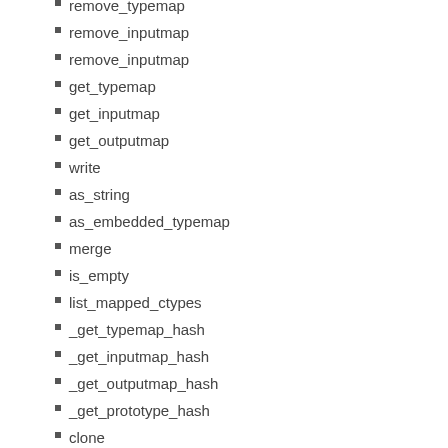remove_typemap
remove_inputmap
remove_inputmap
get_typemap
get_inputmap
get_outputmap
write
as_string
as_embedded_typemap
merge
is_empty
list_mapped_ctypes
_get_typemap_hash
_get_inputmap_hash
_get_outputmap_hash
_get_prototype_hash
clone
tidy_type
CAVEATS
SEE ALSO
AUTHOR
COPYRIGHT & LICENSE